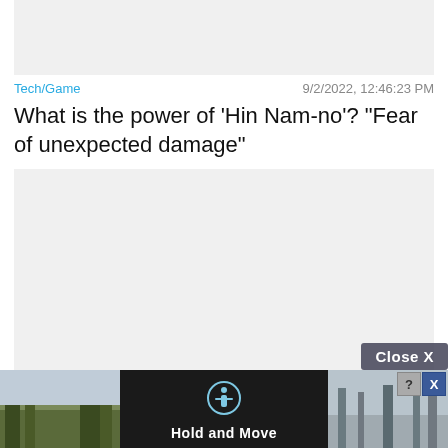[Figure (photo): Top image placeholder, light gray rectangle]
Tech/Game    9/2/2022, 12:46:23 PM
What is the power of 'Hin Nam-no'? "Fear of unexpected damage"
[Figure (photo): Large gray image placeholder]
Tech/Game    9/3/2022, 12:29:37 AM
4 trips through Spain to feel part of the series The House of the Dragon
[Figure (screenshot): Bottom ad overlay with 'Close X' button and 'Hold and Move' app advertisement with dark background and person icon, flanked by two outdoor photos]
[Figure (other): Help (?) and close (X) buttons in top right of ad]